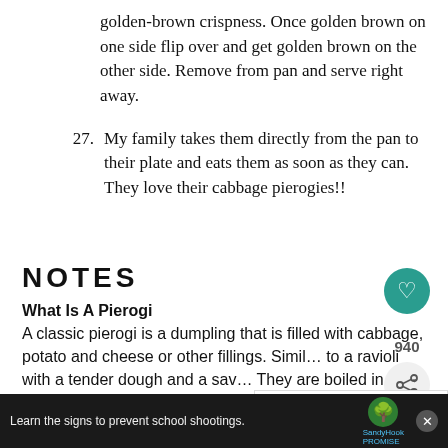golden-brown crispness. Once golden brown on one side flip over and get golden brown on the other side. Remove from pan and serve right away.
27. My family takes them directly from the pan to their plate and eats them as soon as they can. They love their cabbage pierogies!!
NOTES
What Is A Pierogi
A classic pierogi is a dumpling that is filled with cabbage, potato and cheese or other fillings. Similar to a ravioli with a tender dough and a savory filling. They are boiled in water and then fried in a griddle to add some crispiness. A perfect combination!!
940
WHAT'S NEXT → 120+ Scrumptious...
Learn the signs to prevent school shootings.